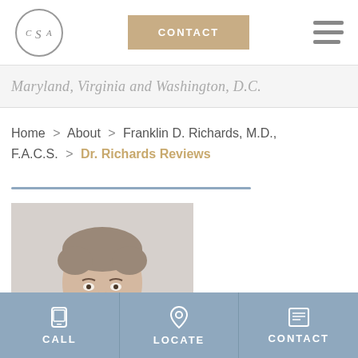[Figure (logo): CSA circular logo with initials C S A in stylized font]
CONTACT
Maryland, Virginia and Washington, D.C.
Home > About > Franklin D. Richards, M.D., F.A.C.S. > Dr. Richards Reviews
[Figure (photo): Headshot of Dr. Franklin D. Richards, a middle-aged man with gray-brown hair, smiling, wearing a white shirt, photographed against a light gray background]
CALL
LOCATE
CONTACT